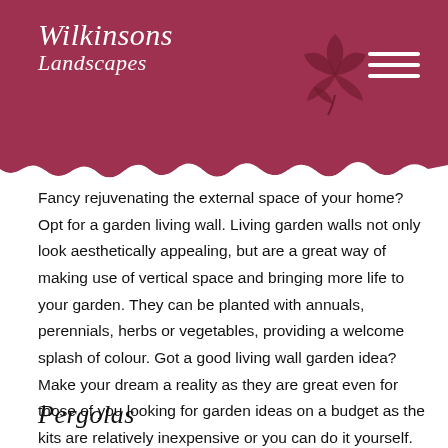Wilkinsons Landscapes
Fancy rejuvenating the external space of your home? Opt for a garden living wall. Living garden walls not only look aesthetically appealing, but are a great way of making use of vertical space and bringing more life to your garden. They can be planted with annuals, perennials, herbs or vegetables, providing a welcome splash of colour. Got a good living wall garden idea? Make your dream a reality as they are great even for those of you looking for garden ideas on a budget as the kits are relatively inexpensive or you can do it yourself. You can have a living wall in any garden.
Pergolas